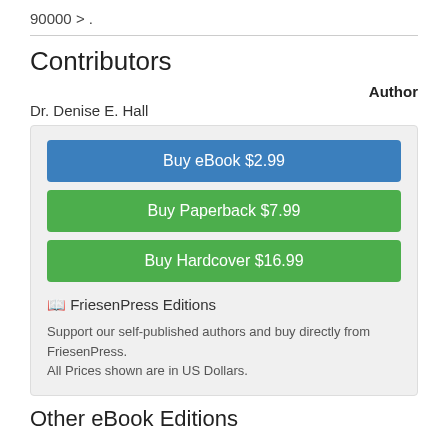90000 > .
Contributors
Author
Dr. Denise E. Hall
Buy eBook $2.99
Buy Paperback $7.99
Buy Hardcover $16.99
🖨 FriesenPress Editions
Support our self-published authors and buy directly from FriesenPress. All Prices shown are in US Dollars.
Other eBook Editions